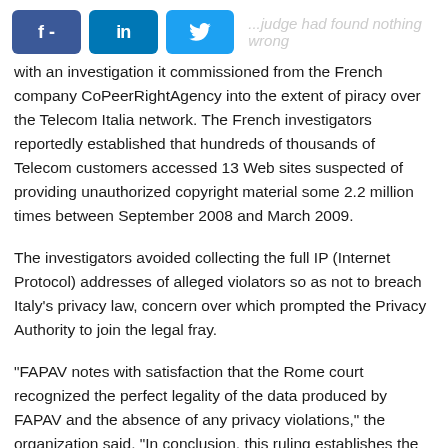[Figure (other): Social media share buttons: Facebook (f -), LinkedIn (in), Twitter (bird icon), followed by faded text '...judge had found nothing wrong']
with an investigation it commissioned from the French company CoPeerRightAgency into the extent of piracy over the Telecom Italia network. The French investigators reportedly established that hundreds of thousands of Telecom customers accessed 13 Web sites suspected of providing unauthorized copyright material some 2.2 million times between September 2008 and March 2009.
The investigators avoided collecting the full IP (Internet Protocol) addresses of alleged violators so as not to breach Italy's privacy law, concern over which prompted the Privacy Authority to join the legal fray.
"FAPAV notes with satisfaction that the Rome court recognized the perfect legality of the data produced by FAPAV and the absence of any privacy violations," the organization said. "In conclusion, this ruling establishes the principle that Internet access providers (like Telecom Italia) are obliged to cooperate in the battle against piracy without hiding behind the screen of supposed non-responsibility